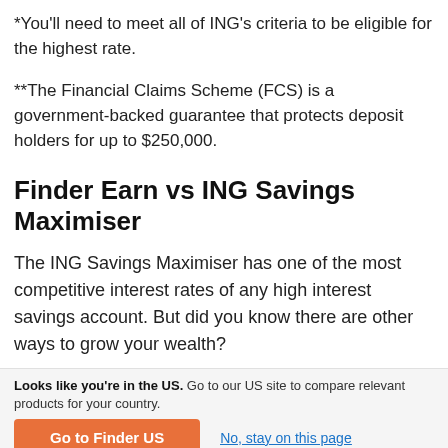*You'll need to meet all of ING's criteria to be eligible for the highest rate.
**The Financial Claims Scheme (FCS) is a government-backed guarantee that protects deposit holders for up to $250,000.
Finder Earn vs ING Savings Maximiser
The ING Savings Maximiser has one of the most competitive interest rates of any high interest savings account. But did you know there are other ways to grow your wealth?
Looks like you're in the US. Go to our US site to compare relevant products for your country.
Go to Finder US
No, stay on this page